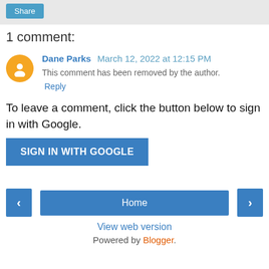[Figure (other): Share button in gray top bar]
1 comment:
Dane Parks  March 12, 2022 at 12:15 PM
This comment has been removed by the author.
Reply
To leave a comment, click the button below to sign in with Google.
[Figure (other): SIGN IN WITH GOOGLE button]
[Figure (other): Navigation bar with left arrow, Home button, right arrow]
View web version
Powered by Blogger.